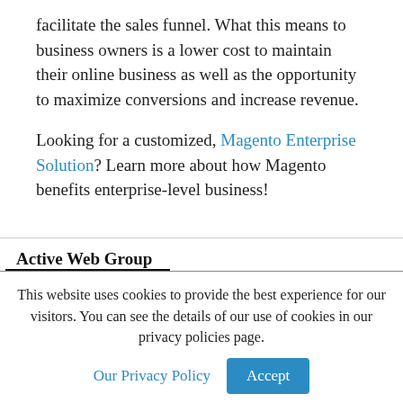facilitate the sales funnel. What this means to business owners is a lower cost to maintain their online business as well as the opportunity to maximize conversions and increase revenue.
Looking for a customized, Magento Enterprise Solution? Learn more about how Magento benefits enterprise-level business!
Active Web Group
This website uses cookies to provide the best experience for our visitors. You can see the details of our use of cookies in our privacy policies page.